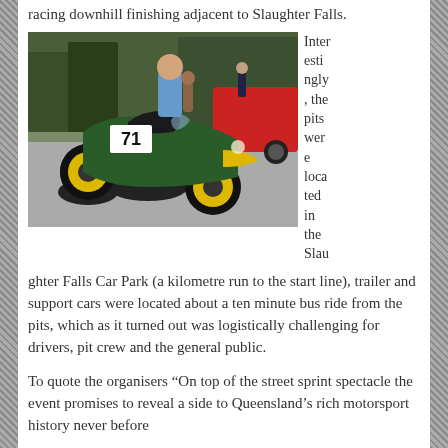racing downhill finishing adjacent to Slaughter Falls.
[Figure (photo): A green open-wheel racing car (number 71) with yellow wheels parked in a car park area, with a man in a blue shirt standing behind it. A red sports car is visible in the background along with trees and other people.]
Interestingly, the pits were located in the Slaughter Falls Car Park (a kilometre run to the start line), trailer and support cars were located about a ten minute bus ride from the pits, which as it turned out was logistically challenging for drivers, pit crew and the general public.
To quote the organisers “On top of the street sprint spectacle the event promises to reveal a side to Queensland’s rich motorsport history never before